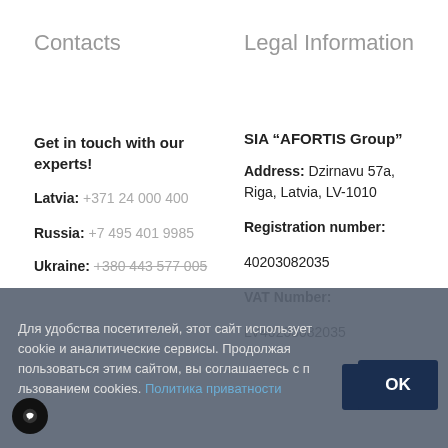Contacts
Legal Information
Get in touch with our experts!
Latvia: +371 24 000 400
Russia: +7 495 401 9985
Ukraine: +380 443 577 005
SIA “AFORTIS Group”
Address: Dzirnavu 57a, Riga, Latvia, LV-1010
Registration number: 40203082035
VAT Number:
LV40203082035
Для удобства посетителей, этот сайт использует cookie и аналитические сервисы. Продолжая пользоваться этим сайтом, вы соглашаетесь с пользованием cookies. Политика приватности